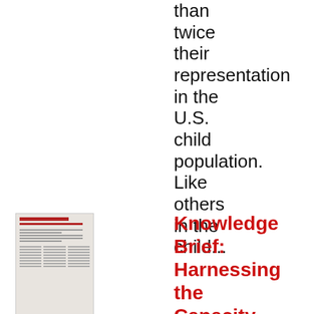than twice their representation in the U.S. child population. Like others in the child...
[Figure (thumbnail): Small thumbnail image of a document page with red header bar and text columns]
Knowledge Brief: Harnessing the Capacity for